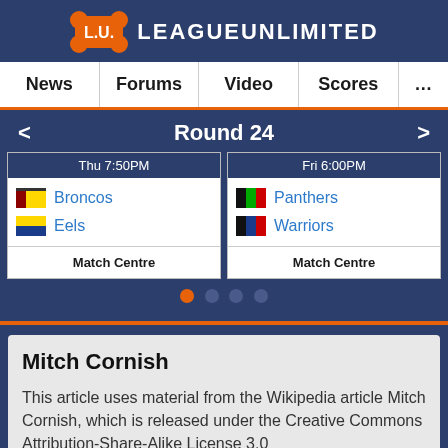L.U. LEAGUEUNLIMITED
News | Forums | Video | Scores | ...
Round 24
| Thu 7:50PM | Fri 6:00PM |
| --- | --- |
| Broncos | Panthers |
| Eels | Warriors |
| Match Centre | Match Centre |
Mitch Cornish
This article uses material from the Wikipedia article Mitch Cornish, which is released under the Creative Commons Attribution-Share-Alike License 3.0